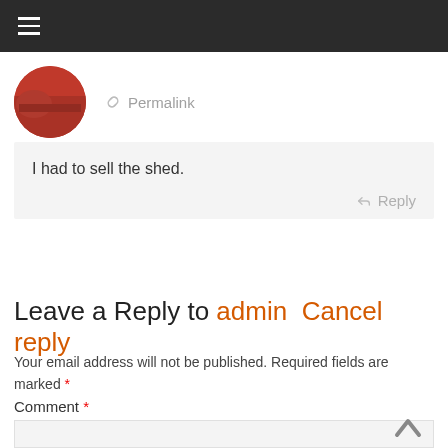≡
[Figure (photo): Circular avatar photo showing a red vehicle, partially cropped]
🔗 Permalink
I had to sell the shed.
↩ Reply
Leave a Reply to admin   Cancel reply
Your email address will not be published. Required fields are marked *
Comment *